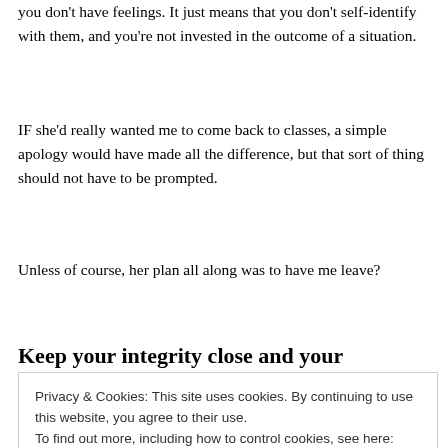you don't have feelings. It just means that you don't self-identify with them, and you're not invested in the outcome of a situation.
IF she'd really wanted me to come back to classes, a simple apology would have made all the difference, but that sort of thing should not have to be prompted.
Unless of course, her plan all along was to have me leave?
Keep your integrity close and your
Privacy & Cookies: This site uses cookies. By continuing to use this website, you agree to their use.
To find out more, including how to control cookies, see here: Cookie Policy
someone, no matter what we think of the situation it's